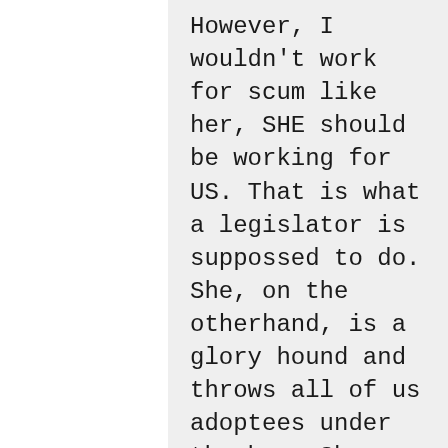However, I wouldn't work for scum like her, SHE should be working for US. That is what a legislator is suppossed to do. She, on the otherhand, is a glory hound and throws all of us adoptees under the bus. She makes me sick.